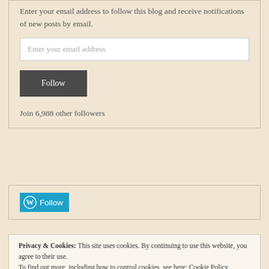Enter your email address to follow this blog and receive notifications of new posts by email.
Enter your email address
Follow
Join 6,988 other followers
[Figure (other): WordPress Follow button with WordPress logo icon in blue]
Privacy & Cookies: This site uses cookies. By continuing to use this website, you agree to their use. To find out more, including how to control cookies, see here: Cookie Policy
Close and accept